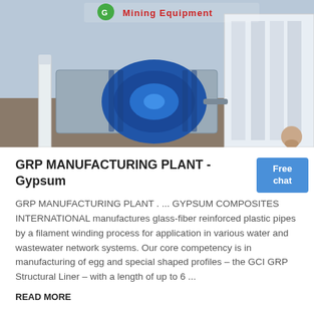[Figure (photo): Photo of industrial machinery — blue electric motor/pump and white industrial equipment, with a 'Mining Equipment' banner in green/red text at top]
GRP MANUFACTURING PLANT - Gypsum
GRP MANUFACTURING PLANT . ... GYPSUM COMPOSITES INTERNATIONAL manufactures glass-fiber reinforced plastic pipes by a filament winding process for application in various water and wastewater network systems. Our core competency is in manufacturing of egg and special shaped profiles – the GCI GRP Structural Liner – with a length of up to 6 ...
READ MORE
[Figure (photo): Photo of industrial plant equipment — grey metallic industrial tower/cyclone separator structure against a blue sky]